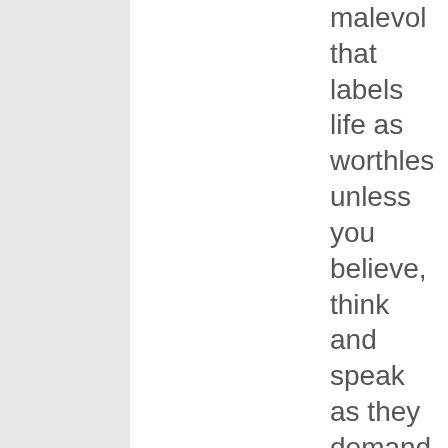malevolent that labels life as worthless unless you believe, think and speak as they demand. Tolerance does not exist in the left's scheme — follow the party line, there is